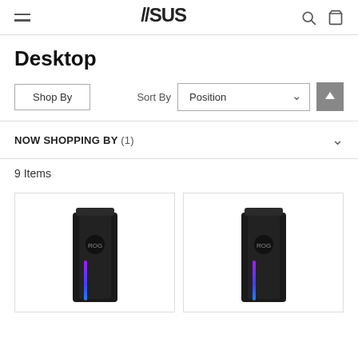ASUS
Desktop
Shop By | Sort By Position
NOW SHOPPING BY (1)
9 Items
[Figure (photo): Two ASUS ROG gaming desktop tower PCs shown side by side, both black with RGB lighting strips showing blue and pink/purple colors and ROG logo on the side panel.]